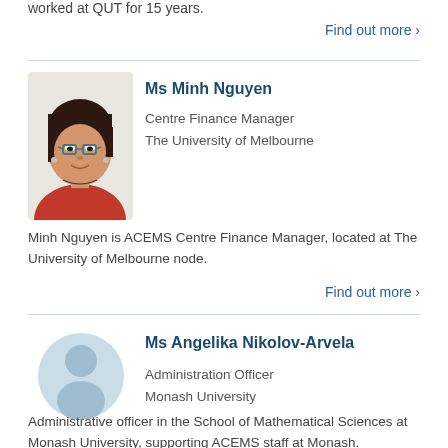worked at QUT for 15 years.
Find out more ›
[Figure (photo): Headshot photo of Ms Minh Nguyen, a woman with short dark hair and glasses, wearing a red top]
Ms Minh Nguyen
Centre Finance Manager
The University of Melbourne
Minh Nguyen is ACEMS Centre Finance Manager, located at The University of Melbourne node.
Find out more ›
[Figure (illustration): Generic person silhouette placeholder icon in light blue]
Ms Angelika Nikolov-Arvela
Administration Officer
Monash University
Administrative officer in the School of Mathematical Sciences at Monash University, supporting ACEMS staff at Monash.